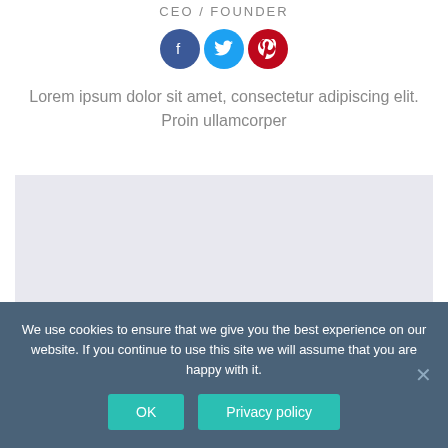CEO / FOUNDER
[Figure (illustration): Three circular social media icons: Facebook (blue), Twitter (light blue), Pinterest (red)]
Lorem ipsum dolor sit amet, consectetur adipiscing elit. Proin ullamcorper
[Figure (other): Light gray/lavender rectangular placeholder box]
We use cookies to ensure that we give you the best experience on our website. If you continue to use this site we will assume that you are happy with it.
OK   Privacy policy